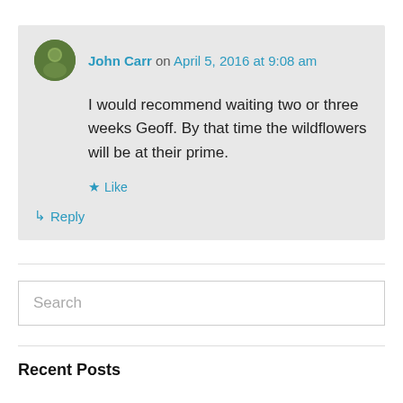John Carr on April 5, 2016 at 9:08 am
I would recommend waiting two or three weeks Geoff. By that time the wildflowers will be at their prime.
Like
Reply
Search
Recent Posts